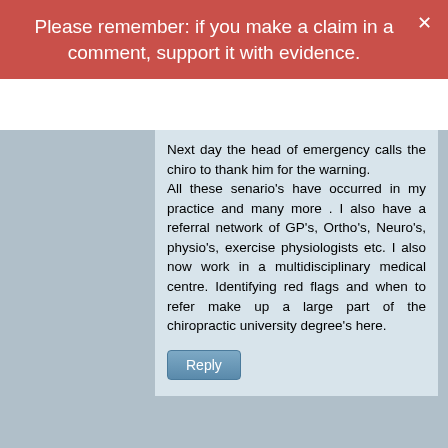Please remember: if you make a claim in a comment, support it with evidence.
Next day the head of emergency calls the chiro to thank him for the warning. All these senario's have occurred in my practice and many more . I also have a referral network of GP's, Ortho's, Neuro's, physio's, exercise physiologists etc. I also now work in a multidisciplinary medical centre. Identifying red flags and when to refer make up a large part of the chiropractic university degree's here.
Reply
JK on Friday 03 November 2017 at 07:34
This website uses necessary cookies to make it work and to remember your preferences. Click on 'Cookie settings' to control your consent for other cookies or click on 'Accept all' to consent to the use of all cookies. By continuing to browse this website you are agreeing to our Privacy policy.
Accept all
Cookie settings
Privacy policy